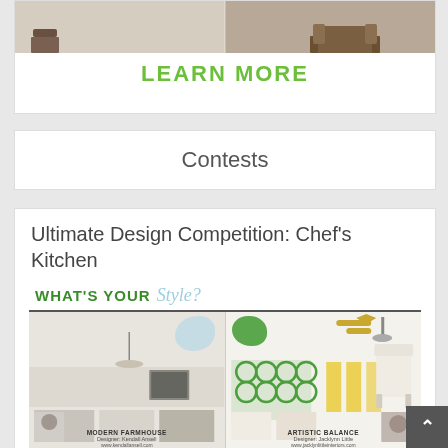[Figure (photo): Top portion of an advertisement showing furniture/interior design imagery with dark chairs and seating]
LEARN MORE
Contests
Ultimate Design Competition: Chef's Kitchen
[Figure (infographic): Competition mood board showing two design styles side by side. Left: MODERN FARMHOUSE by Designer Kendall Ansell (www.kendallansell.com). Right: ARTISTIC BALANCE by Designer Jacklynn Little (www.jacklynlittleinteriors.com). Banner reads WHAT'S YOUR Style? with kitchen mood board images.]
VOTE FOR A CHANCE TO WIN AT